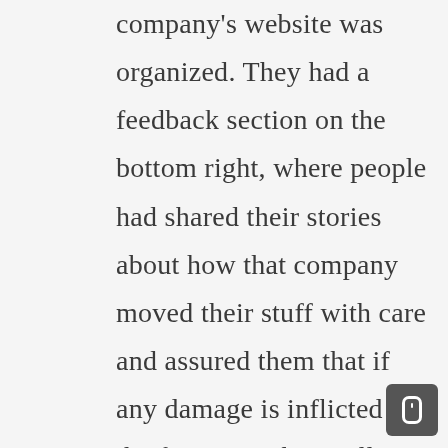company's website was organized. They had a feedback section on the bottom right, where people had shared their stories about how that company moved their stuff with care and assured them that if any damage is inflicted on the furniture, they will pay for that. Their website also shared how the movers have rules for their drivers to drive